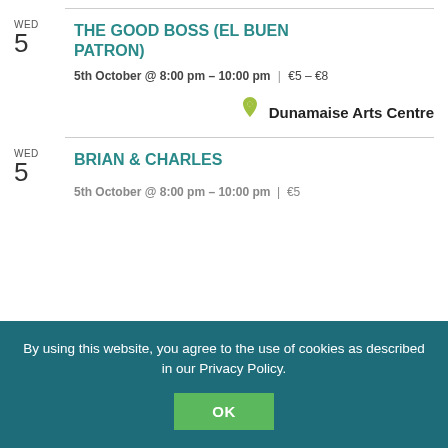WED 5 THE GOOD BOSS (EL BUEN PATRON) — 5th October @ 8:00 pm - 10:00 pm | €5 - €8 — Dunamaise Arts Centre
WED 5 BRIAN & CHARLES — 5th October @ 8:00 pm - 10:00 pm | €5
By using this website, you agree to the use of cookies as described in our Privacy Policy.